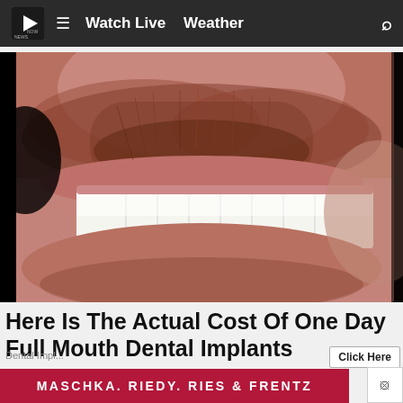Watch Live  Weather
[Figure (photo): Close-up photo of a man's smile showing bright white dental implants/veneers, with visible stubble/beard around the mouth and nose area]
Here Is The Actual Cost Of One Day Full Mouth Dental Implants
Dental Impl...
Click Here
MASCHKA. RIEDY. RIES & FRENTZ